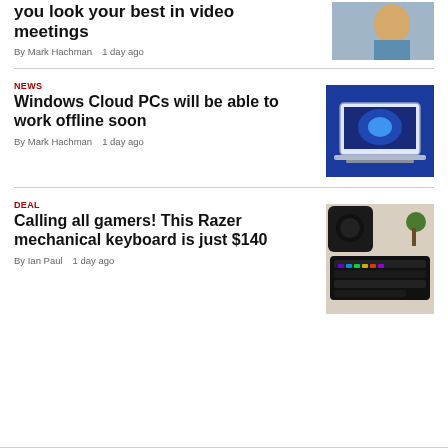you look your best in video meetings
By Mark Hachman   1 day ago
NEWS
Windows Cloud PCs will be able to work offline soon
By Mark Hachman   1 day ago
DEAL
Calling all gamers! This Razer mechanical keyboard is just $140
By Ian Paul   1 day ago